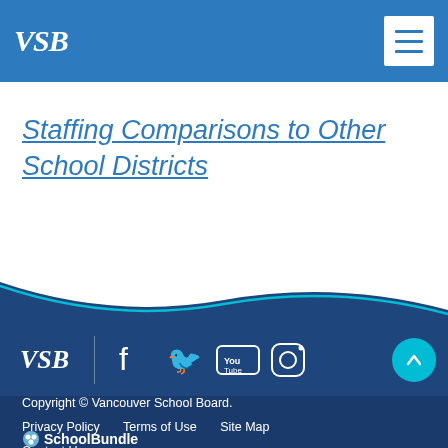VSB
Staffing Comparisons to Other School Districts
[Figure (logo): VSB logo in footer with social media icons: Facebook, Twitter, YouTube, Instagram]
Copyright © Vancouver School Board. Privacy Policy  Terms of Use  Site Map  Contact Us  SchoolBundle